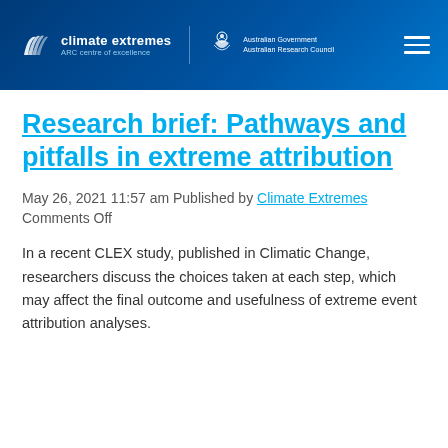climate extremes ARC centre of excellence | Australian Government Australian Research Council
Research brief: Pathways and pitfalls in extreme attribution
May 26, 2021 11:57 am Published by Climate Extremes Comments Off
In a recent CLEX study, published in Climatic Change, researchers discuss the choices taken at each step, which may affect the final outcome and usefulness of extreme event attribution analyses.